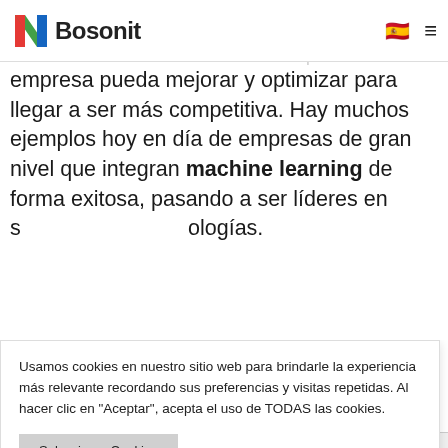Bosonit
ejemplo la organización empresarial, lo mejor de ejemplo la organización de recursos, manos de interacción con los clientes. Todo esto hace que la
empresa pueda mejorar y optimizar para llegar a ser más competitiva. Hay muchos ejemplos hoy en día de empresas de gran nivel que integran machine learning de forma exitosa, pasando a ser líderes en s ologías.
Usamos cookies en nuestro sitio web para brindarle la experiencia más relevante recordando sus preferencias y visitas repetidas. Al hacer clic en "Aceptar", acepta el uso de TODAS las cookies.
Seleccionar Cookies
Aceptar todas